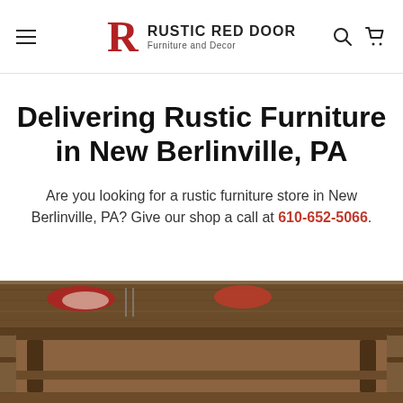Rustic Red Door — Furniture and Decor
Delivering Rustic Furniture in New Berlinville, PA
Are you looking for a rustic furniture store in New Berlinville, PA? Give our shop a call at 610-652-5066.
[Figure (photo): Photo of a rustic wooden dining table with place settings including red napkins and cutlery, surrounded by wooden chairs.]